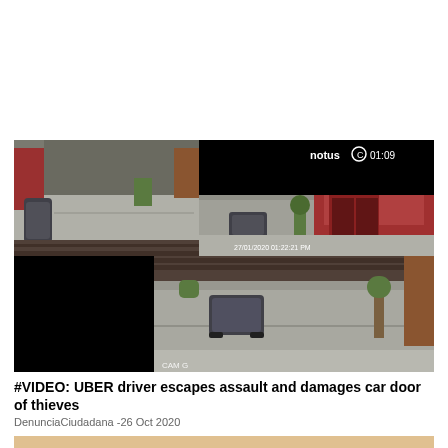[Figure (screenshot): CCTV footage composite showing a street scene from an overhead camera. Top portion shows a street with parked cars and buildings, with a black rectangle overlay in upper right and 'notuse 01:09' watermark. Bottom portion shows another camera angle of the same street with a black rectangle on the left, showing a car on the street. Timestamp visible: 27/01/2020 01:22:21 PM. CAMG watermark bottom left.]
#VIDEO: UBER driver escapes assault and damages car door of thieves
DenunciaCiudadana -26 Oct 2020